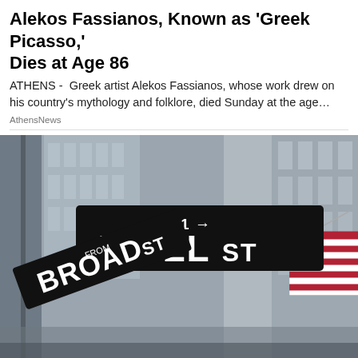Alekos Fassianos, Known as 'Greek Picasso,' Dies at Age 86
ATHENS -  Greek artist Alekos Fassianos, whose work drew on his country's mythology and folklore, died Sunday at the age…
AthensNews
[Figure (photo): Photo of Wall Street street sign reading '11-21 WALL ST' with a Broad St sign below it, American flag in the background, buildings visible, black and white urban scene with selective color on the flag.]